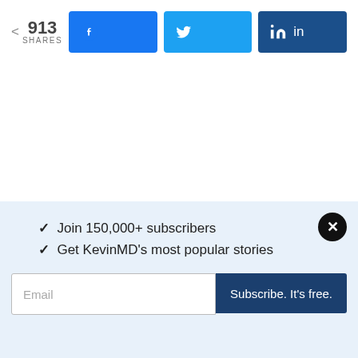[Figure (infographic): Social share bar showing 913 shares with Facebook, Twitter, and LinkedIn buttons]
[Figure (infographic): Left and right navigation arrows for article carousel]
ADVERTISEMENT
✓  Join 150,000+ subscribers
✓  Get KevinMD's most popular stories
Email | Subscribe. It's free.